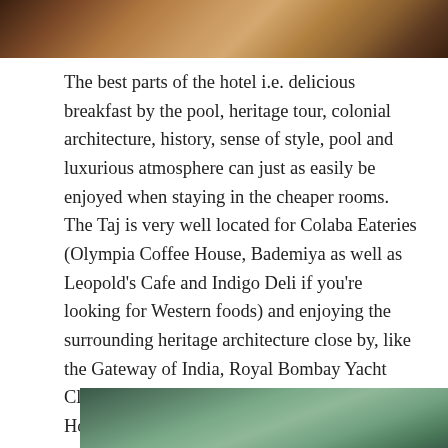[Figure (photo): Top portion of a photo showing architectural/building detail, partially cropped]
The best parts of the hotel i.e. delicious breakfast by the pool, heritage tour, colonial architecture, history, sense of style, pool and luxurious atmosphere can just as easily be enjoyed when staying in the cheaper rooms. The Taj is very well located for Colaba Eateries (Olympia Coffee House, Bademiya as well as Leopold's Cafe and Indigo Deli if you're looking for Western foods) and enjoying the surrounding heritage architecture close by, like the Gateway of India, Royal Bombay Yacht Club, Dhunraj Mahal, Regal Cinema, Sailors Home (now Maharashtra Police Headquarters), Regal Cinema, Majestic Hotel, National Gallery of Modern Art, Chhatrapati Shivaji Maharaj Vastu Sangrahalaya Museum (formerly 'Prince of Wales Museum').
[Figure (photo): Bottom portion of a photo, partially cropped, showing outdoor scene with trees/foliage]